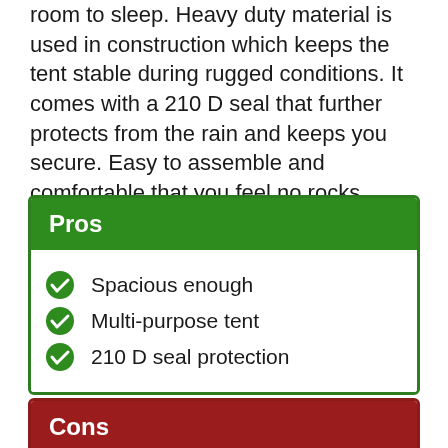room to sleep. Heavy duty material is used in construction which keeps the tent stable during rugged conditions. It comes with a 210 D seal that further protects from the rain and keeps you secure. Easy to assemble and comfortable that you feel no rocks jabbing into your back.
Pros
Spacious enough
Multi-purpose tent
210 D seal protection
Cons